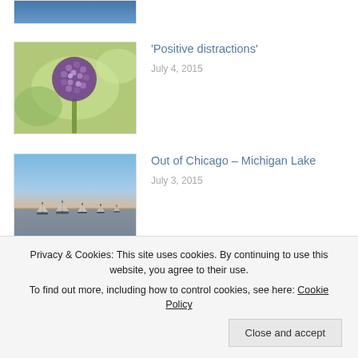[Figure (photo): Partial top image cut off, blue/water tones]
'Positive distractions'
July 4, 2015
[Figure (photo): Purple allium flower ball against green bokeh background]
Out of Chicago – Michigan Lake
July 3, 2015
[Figure (photo): Sailboats on Lake Michigan at dusk with pastel sky]
Out of Chicago. Splash.
[Figure (photo): Glass building facade with green reflections]
Privacy & Cookies: This site uses cookies. By continuing to use this website, you agree to their use. To find out more, including how to control cookies, see here: Cookie Policy
Close and accept